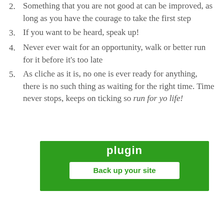2. Something that you are not good at can be improved, as long as you have the courage to take the first step
3. If you want to be heard, speak up!
4. Never ever wait for an opportunity, walk or better run for it before it's too late
5. As cliche as it is, no one is ever ready for anything, there is no such thing as waiting for the right time. Time never stops, keeps on ticking so run for yo life!
[Figure (screenshot): Green plugin banner showing bold white text 'plugin' and a white button with green text 'Back up your site']
Privacy & Cookies: This site uses cookies. By continuing to use this website, you agree to their use. To find out more, including how to control cookies, see here: Cookie Policy
Close and accept